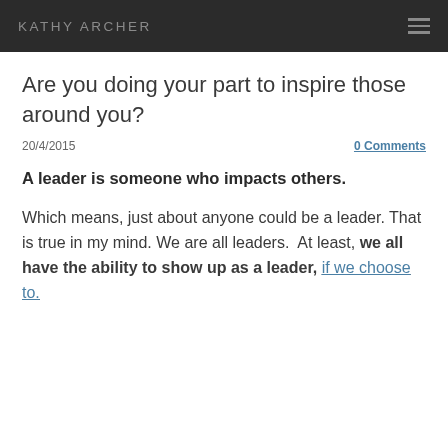KATHY ARCHER
Are you doing your part to inspire those around you?
20/4/2015   0 Comments
A leader is someone who impacts others.
Which means, just about anyone could be a leader. That is true in my mind. We are all leaders.  At least, we all have the ability to show up as a leader, if we choose to.